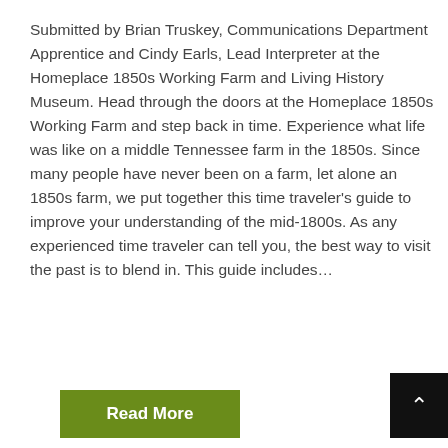Submitted by Brian Truskey, Communications Department Apprentice and Cindy Earls, Lead Interpreter at the Homeplace 1850s Working Farm and Living History Museum. Head through the doors at the Homeplace 1850s Working Farm and step back in time. Experience what life was like on a middle Tennessee farm in the 1850s. Since many people have never been on a farm, let alone an 1850s farm, we put together this time traveler’s guide to improve your understanding of the mid-1800s. As any experienced time traveler can tell you, the best way to visit the past is to blend in. This guide includes…
Read More